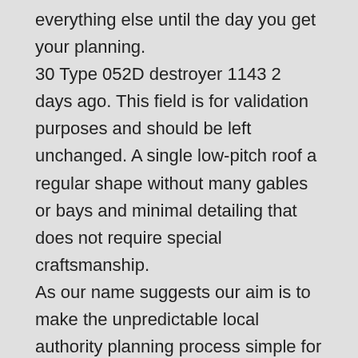everything else until the day you get your planning.
30 Type 052D destroyer 1143 2 days ago. This field is for validation purposes and should be left unchanged. A single low-pitch roof a regular shape without many gables or bays and minimal detailing that does not require special craftsmanship.
As our name suggests our aim is to make the unpredictable local authority planning process simple for anyone looking to extend their home or even build themselves a new one. 31 Airbus A350-900 XWB With interior Swiper 2 days ago. Jan 25 2021 SIMPLE IRAs do not require most of the bureaucracy that comes with qualified plans such as non-discrimination and top-heavy testing vesting schedules and tax reporting at.
0 0 star reviews from 0 customer. Small businesses may